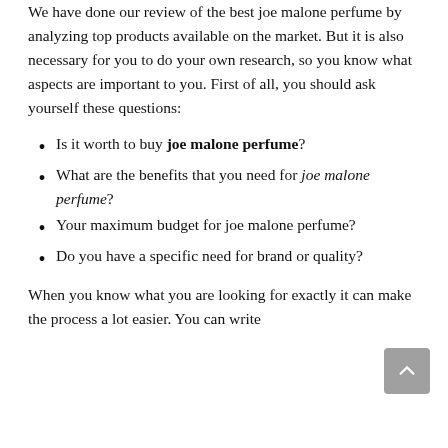We have done our review of the best joe malone perfume by analyzing top products available on the market. But it is also necessary for you to do your own research, so you know what aspects are important to you. First of all, you should ask yourself these questions:
Is it worth to buy joe malone perfume?
What are the benefits that you need for joe malone perfume?
Your maximum budget for joe malone perfume?
Do you have a specific need for brand or quality?
When you know what you are looking for exactly it can make the process a lot easier. You can write